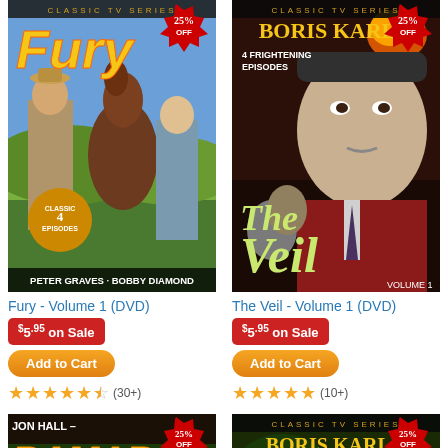[Figure (photo): DVD cover for Fury Volume 1 - Classic TV Series showing Peter Graves and Bobby Diamond with a horse, yellow title text, Classic 4 Episodes badge, 25% OFF starburst]
[Figure (photo): DVD cover for The Veil Volume 1 - Boris Karloff Classic TV Series, 4 Frightening Episodes, Volume 1, 25% OFF starburst]
Fury - Volume 1 (DVD)
The Veil - Volume 1 (DVD)
$5.95 on Sale
$5.95 on Sale
Add to Cart
Add to Cart
(30+)
(10+)
[Figure (photo): DVD cover for Ramar of the Jungle - Jon Hall, partially visible, 25% OFF starburst]
[Figure (photo): DVD cover for Boris Karloff Classic TV Series, partially visible, 25% OFF starburst]